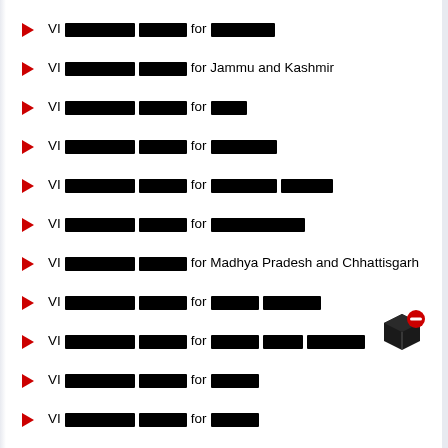VI [redacted] [redacted] for [redacted]
VI [redacted] [redacted] for Jammu and Kashmir
VI [redacted] [redacted] for [redacted]
VI [redacted] [redacted] for [redacted]
VI [redacted] [redacted] for [redacted] [redacted]
VI [redacted] [redacted] for [redacted]
VI [redacted] [redacted] for Madhya Pradesh and Chhattisgarh
VI [redacted] [redacted] for [redacted] [redacted]
VI [redacted] [redacted] for [redacted] [redacted] [redacted]
VI [redacted] [redacted] for [redacted]
VI [redacted] [redacted] for [redacted]
VI [redacted] [redacted] for [redacted]